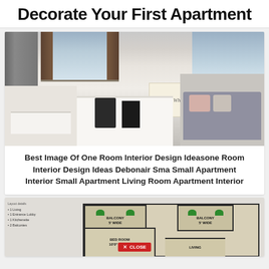Decorate Your First Apartment
[Figure (photo): Interior photo of a modern small apartment showing a white dining table with chairs, a desk area, and a living room section with a grey sofa and pink pillow. A wall art reading 'Do What You Love' is visible on the right side.]
Best Image Of One Room Interior Design Ideasone Room Interior Design Ideas Debonair Sma Small Apartment Interior Small Apartment Living Room Apartment Interior
[Figure (photo): Floor plan of a small apartment showing: 1 Living, 1 Entrance Lobby, 1 Kitchenette, 2 Balconies. The plan shows a Bed Room (10'0" x 11'0"), two Balconies (5' WIDE each), and a Living area. A red CLOSE button is overlaid at the bottom.]